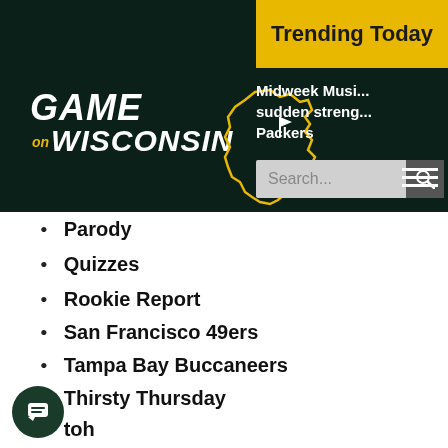Game on Wisconsin — Trending Today / Midweek Musi... sudden streng... Packers
Parody
Quizzes
Rookie Report
San Francisco 49ers
Tampa Bay Buccaneers
Thirsty Thursday
toh
Training Camp
trivia
Uncategorized